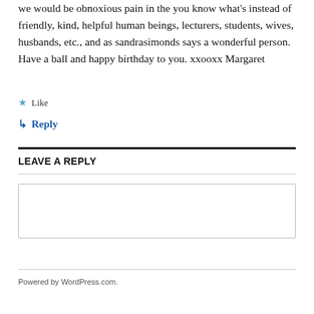we would be obnoxious pain in the you know what's instead of friendly, kind, helpful human beings, lecturers, students, wives, husbands, etc., and as sandrasimonds says a wonderful person. Have a ball and happy birthday to you. xxooxx Margaret
Like
Reply
LEAVE A REPLY
Enter your comment here...
Powered by WordPress.com.